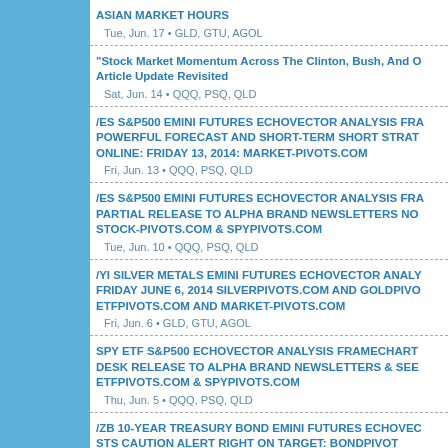ASIAN MARKET HOURS
Tue, Jun. 17 • GLD, GTU, AGOL
"Stock Market Momentum Across The Clinton, Bush, And O... Article Update Revisited
Sat, Jun. 14 • QQQ, PSQ, QLD
/ES S&P500 EMINI FUTURES ECHOVECTOR ANALYSIS FRA... POWERFUL FORECAST AND SHORT-TERM SHORT STRAT... ONLINE: FRIDAY 13, 2014: MARKET-PIVOTS.COM
Fri, Jun. 13 • QQQ, PSQ, QLD
/ES S&P500 EMINI FUTURES ECHOVECTOR ANALYSIS FRA... PARTIAL RELEASE TO ALPHA BRAND NEWSLETTERS NO... STOCK-PIVOTS.COM & SPYPIVOTS.COM
Tue, Jun. 10 • QQQ, PSQ, QLD
/YI SILVER METALS EMINI FUTURES ECHOVECTOR ANALY... FRIDAY JUNE 6, 2014 SILVERPIVOTS.COM AND GOLDPIVO... ETFPIVOTS.COM AND MARKET-PIVOTS.COM
Fri, Jun. 6 • GLD, GTU, AGOL
SPY ETF S&P500 ECHOVECTOR ANALYSIS FRAMECHART... DESK RELEASE TO ALPHA BRAND NEWSLETTERS & SEE... ETFPIVOTS.COM & SPYPIVOTS.COM
Thu, Jun. 5 • QQQ, PSQ, QLD
/ZB 10-YEAR TREASURY BOND EMINI FUTURES ECHOVEC... STS CAUTION ALERT RIGHT ON TARGET: BONDPIVOT...